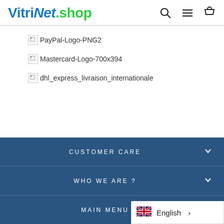[Figure (logo): VitriNet.shop logo in blue and green with navigation icons (search, menu, cart)]
[Figure (other): Broken image placeholder with alt text: PayPal-Logo-PNG2]
[Figure (other): Broken image placeholder with alt text: Mastercard-Logo-700x394]
[Figure (other): Broken image placeholder with alt text: dhl_express_livraison_internationale]
CUSTOMER CARE
WHO WE ARE ?
MAIN MENU
English